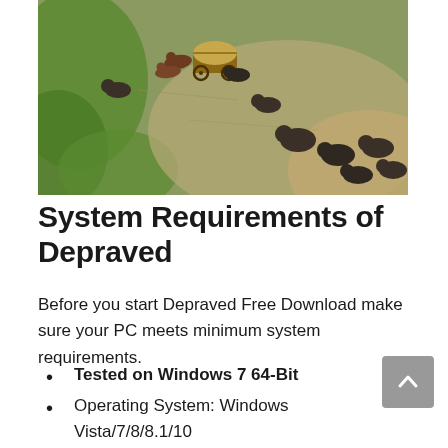[Figure (screenshot): Aerial/top-down view of a video game scene showing buffalo/bison animals and a covered wagon on grassy and dirt terrain]
System Requirements of Depraved
Before you start Depraved Free Download make sure your PC meets minimum system requirements.
Tested on Windows 7 64-Bit
Operating System: Windows Vista/7/8/8.1/10
CPU: X64 Dual Core CPU, 3+ GHz
RAM: 8GB
Setup Size: 2.7GB